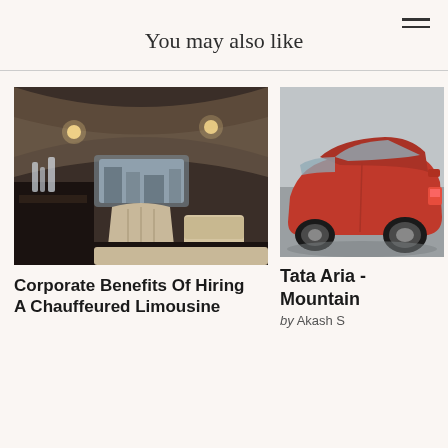You may also like
[Figure (photo): Interior of a limousine showing beige leather seats, curved ceiling with lights, and a bar area with glassware on the left]
Corporate Benefits Of Hiring A Chauffeured Limousine
[Figure (photo): Red Tata Aria SUV photographed from the rear-side angle in a parking area]
Tata Aria - Mountain
by Akash S